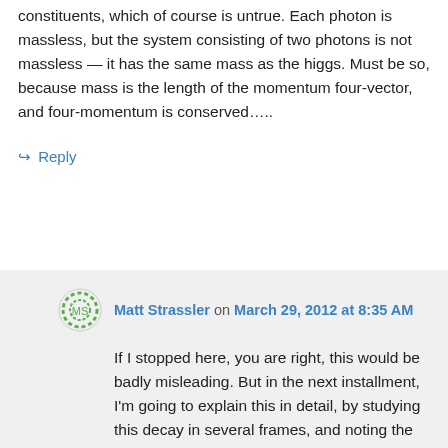constituents, which of course is untrue. Each photon is massless, but the system consisting of two photons is not massless — it has the same mass as the higgs. Must be so, because mass is the length of the momentum four-vector, and four-momentum is conserved…..
↪ Reply
Matt Strassler on March 29, 2012 at 8:35 AM
If I stopped here, you are right, this would be badly misleading. But in the next installment, I'm going to explain this in detail, by studying this decay in several frames, and noting the difference between the sum of the masses of constituents and